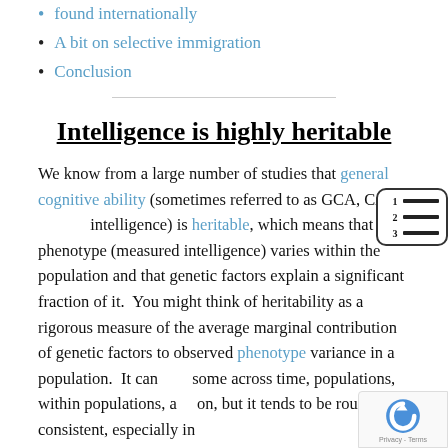found internationally
A bit on selective immigration
Conclusion
Intelligence is highly heritable
We know from a large number of studies that general cognitive ability (sometimes referred to as GCA, CA, g, intelligence) is heritable, which means that this phenotype (measured intelligence) varies within the population and that genetic factors explain a significant fraction of it.  You might think of heritability as a rigorous measure of the average marginal contribution of genetic factors to observed phenotype variance in a population.  It can vary some across time, populations, within populations, and so on, but it tends to be roughly consistent, especially in